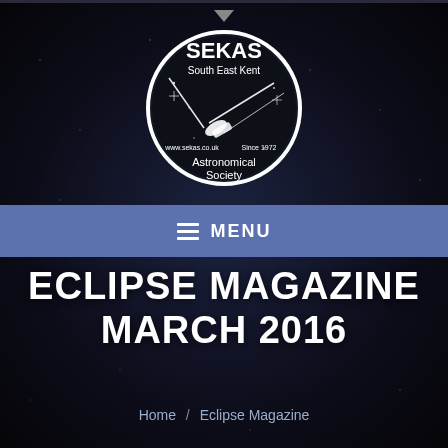[Figure (logo): SEKAS South East Kent Astronomical Society circular logo with white circle border, telescopes and stars illustration, text: SEKAS, South East Kent, www.sekas.co.uk, Since 1972, Astronomical Society]
≡  MENU
ECLIPSE MAGAZINE MARCH 2016
Home / Eclipse Magazine